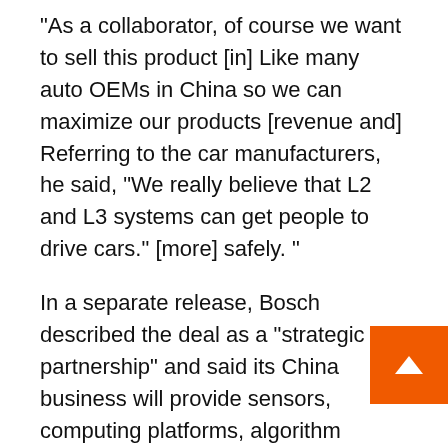“As a collaborator, of course we want to sell this product [in] Like many auto OEMs in China so we can maximize our products [revenue and] Referring to the car manufacturers, he said, “We really believe that L2 and L3 systems can get people to drive cars.” [more] safely. ”
In a separate release, Bosch described the deal as a “strategic partnership” and said its China business will provide sensors, computing platforms, algorithm applications and cloud services, while WeRide will provide the software. Neither company shared the amount of capital invested.
The deal is “very important,” said Tu Li, founder of Beijing-based consultancy Sino Auto Insights. “Th not just a venture capital firm that sees potential in the market as a whole and invests in the sector.”